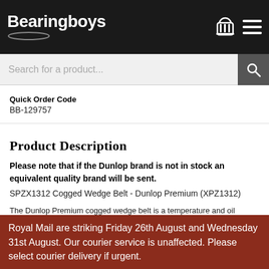Bearingboys
Search for a product...
Quick Order Code
BB-129757
Product Description
Please note that if the Dunlop brand is not in stock an equivalent quality brand will be sent.
SPZX1312 Cogged Wedge Belt - Dunlop Premium (XPZ1312)
The Dunlop Premium cogged wedge belt is a temperature and oil resistant universal drive belt with antistatic properties that has a deeper cross section than conventional v-belts, this increase in height ensures excellent grip and greater power ratings, and due to its design can be used with
Royal Mail are striking Friday 26th August and Wednesday 31st August. Our courier service is unaffected. Please select courier delivery if urgent.